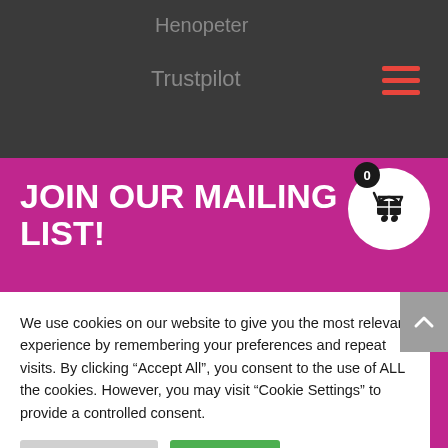Henopeter
Trustpilot
JOIN OUR MAILING LIST!
Keep up-to-date with the latest produst and deals, Binary has to offer.
First Name
We use cookies on our website to give you the most relevant experience by remembering your preferences and repeat visits. By clicking “Accept All”, you consent to the use of ALL the cookies. However, you may visit “Cookie Settings” to provide a controlled consent.
Cookie Settings
Accept All